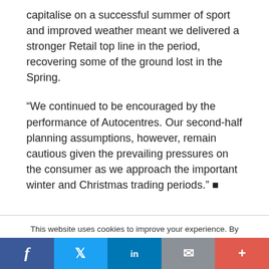capitalise on a successful summer of sport and improved weather meant we delivered a stronger Retail top line in the period, recovering some of the ground lost in the Spring.
“We continued to be encouraged by the performance of Autocentres. Our second-half planning assumptions, however, remain cautious given the prevailing pressures on the consumer as we approach the important winter and Christmas trading periods.” ■
This website uses cookies to improve your experience. By continuing to browse the site you are agreeing to our use of cookies. To find out more please read our privacy policy
Accept - To find out more: Read our updated privacy